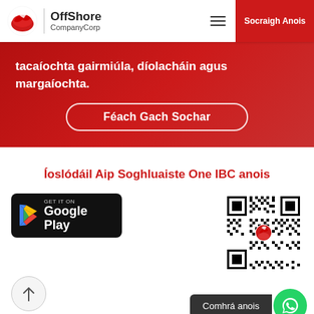OffShore CompanyCorp — Socraigh Anois
tacaíochta gairmiúla, díolacháin agus margaíochta.
Féach Gach Sochar
Íoslódáil Aip Soghluaiste One IBC anois
[Figure (screenshot): Google Play store badge — GET IT ON Google Play on black rounded rectangle]
[Figure (screenshot): QR code with OffShore CompanyCorp logo in the center]
Comhrá anois